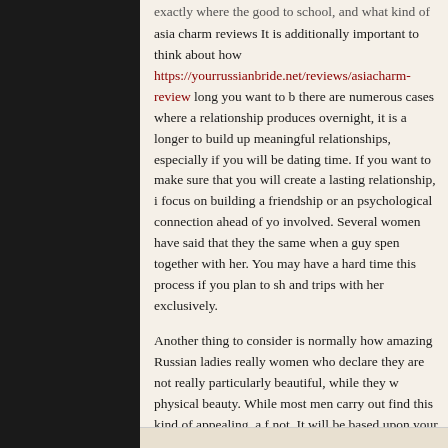asia charm reviews It is additionally important to think about how https://yourrussianbride.net/reviews/asiacharm-review long you want to be there are numerous cases where a relationship produces overnight, it is a longer to build up meaningful relationships, especially if you will be dating time. If you want to make sure that you will create a lasting relationship, focus on building a friendship or an psychological connection ahead of you involved. Several women have said that they the same when a guy spen together with her. You may have a hard time this process if you plan to sh and trips with her exclusively.
Another thing to consider is normally how amazing Russian ladies really women who declare they are not really particularly beautiful, while they w physical beauty. While most men carry out find this kind of appealing, a f not. It will be based upon your objectives. In general, even if, men typical ladies are more beautiful than their particular Western alternative.
A lot of men use Russian dating services to find women coming from ano number of overseas women trying to find Russian lovers is increasing, a happy to accept the advances of international guys. In the United States difficult for a person to find a Russian partner, therefore it is often far bet ladies online have their profiles completely filled out in order to attract Am men. In case you cannot afford to meet these females in person, you are with them on the web and learn about each other.